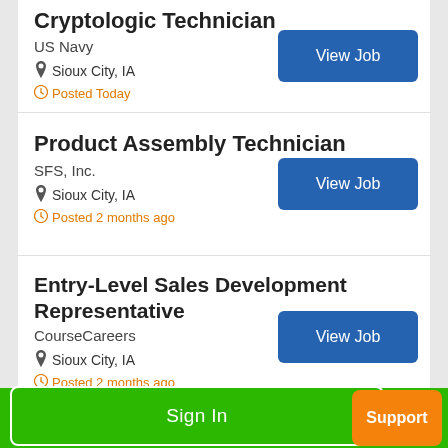Cryptologic Technician
US Navy
Sioux City, IA
Posted Today
Product Assembly Technician
SFS, Inc.
Sioux City, IA
Posted 2 months ago
Entry-Level Sales Development Representative
CourseCareers
Sioux City, IA
Posted 2 months ago
Sign In   Support